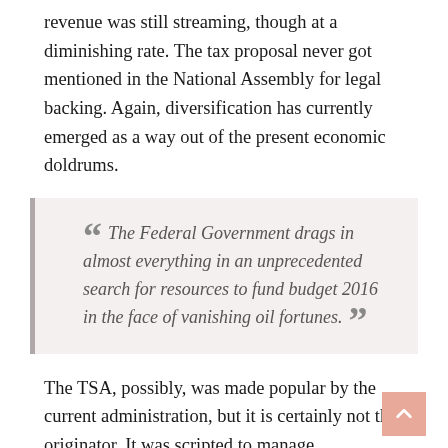revenue was still streaming, though at a diminishing rate. The tax proposal never got mentioned in the National Assembly for legal backing. Again, diversification has currently emerged as a way out of the present economic doldrums.
The Federal Government drags in almost everything in an unprecedented search for resources to fund budget 2016 in the face of vanishing oil fortunes.
The TSA, possibly, was made popular by the current administration, but it is certainly not the originator. It was scripted to manage ‘undercurrents’ in the administration of the country’s public finance management system. It was not only a revenue